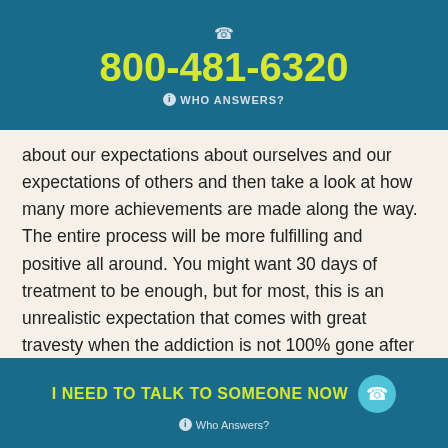800-481-6320 WHO ANSWERS?
about our expectations about ourselves and our expectations of others and then take a look at how many more achievements are made along the way. The entire process will be more fulfilling and positive all around. You might want 30 days of treatment to be enough, but for most, this is an unrealistic expectation that comes with great travesty when the addiction is not 100% gone after 30 days. Be realistic! You probably didn’t become an addict in under a month and it’s not likely that you will recover that fast either!
Pay close attention to the rules of the drug rehab
I NEED TO TALK TO SOMEONE NOW Who Answers?